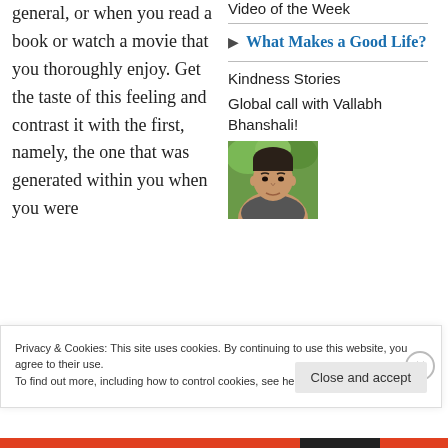general, or when you read a book or watch a movie that you thoroughly enjoy. Get the taste of this feeling and contrast it with the first, namely, the one that was generated within you when you were
Video of the Week
▶ What Makes a Good Life?
Kindness Stories
Global call with Vallabh Bhanshali!
[Figure (photo): Portrait photo of Vallabh Bhanshali]
Privacy & Cookies: This site uses cookies. By continuing to use this website, you agree to their use.
To find out more, including how to control cookies, see here: Cookie Policy
Close and accept